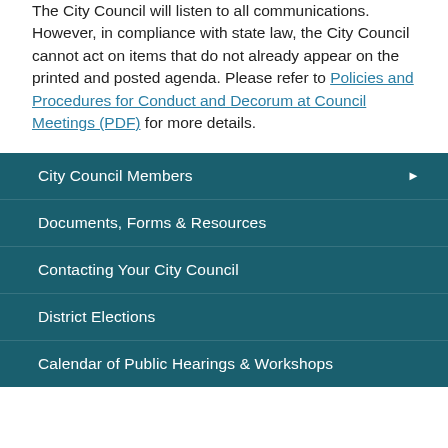The City Council will listen to all communications. However, in compliance with state law, the City Council cannot act on items that do not already appear on the printed and posted agenda. Please refer to Policies and Procedures for Conduct and Decorum at Council Meetings (PDF) for more details.
City Council Members
Documents, Forms & Resources
Contacting Your City Council
District Elections
Calendar of Public Hearings & Workshops